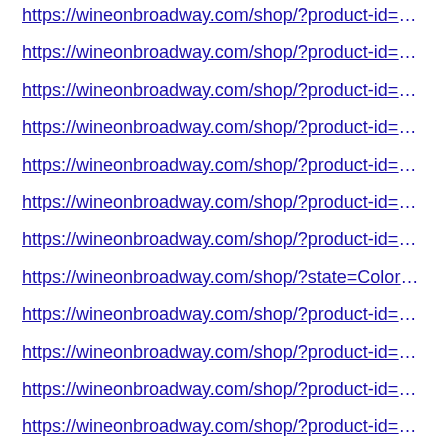https://wineonbroadway.com/shop/?product-id=56ebad…
https://wineonbroadway.com/shop/?product-id=60414be…
https://wineonbroadway.com/shop/?product-id=5d954f0…
https://wineonbroadway.com/shop/?product-id=56c3372…
https://wineonbroadway.com/shop/?product-id=5a6b7b7…
https://wineonbroadway.com/shop/?product-id=596554e…
https://wineonbroadway.com/shop/?product-id=5e7a943…
https://wineonbroadway.com/shop/?state=Colorado
https://wineonbroadway.com/shop/?product-id=58afbd2…
https://wineonbroadway.com/shop/?product-id=5ca6a8…
https://wineonbroadway.com/shop/?product-id=58afc2f7…
https://wineonbroadway.com/shop/?product-id=586735…